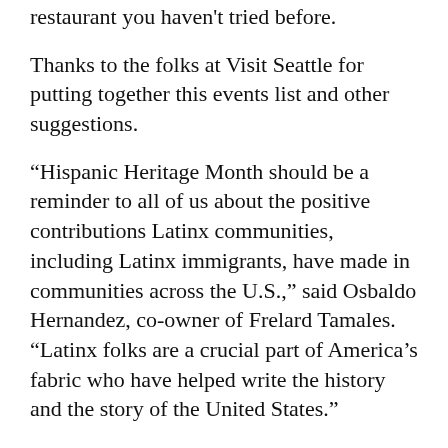restaurant you haven't tried before.
Thanks to the folks at Visit Seattle for putting together this events list and other suggestions.
“Hispanic Heritage Month should be a reminder to all of us about the positive contributions Latinx communities, including Latinx immigrants, have made in communities across the U.S.,” said Osbaldo Hernandez, co-owner of Frelard Tamales. “Latinx folks are a crucial part of America’s fabric who have helped write the history and the story of the United States.”
Additionally, here’s a cool introduction to select businesses: Visit Seattle and Intentionalist (with support from Seattle Sounders FC) are hosting Visit Seattle-sponsored tabs offering freebies to people who show up and ask. Here’s how it works